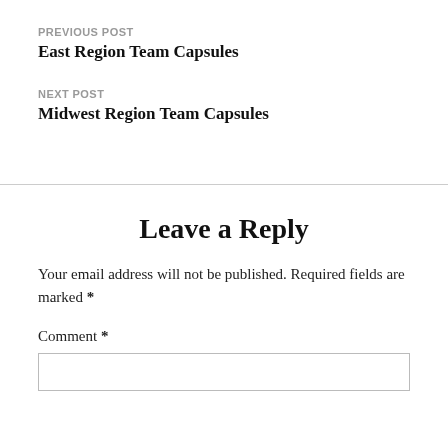PREVIOUS POST
East Region Team Capsules
NEXT POST
Midwest Region Team Capsules
Leave a Reply
Your email address will not be published. Required fields are marked *
Comment *